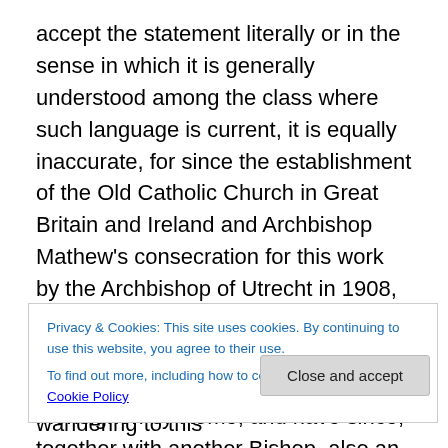accept the statement literally or in the sense in which it is generally understood among the class where such language is current, it is equally inaccurate, for since the establishment of the Old Catholic Church in Great Britain and Ireland and Archbishop Mathew's consecration for this work by the Archbishop of Utrecht in 1908, he has consecrated altogether seven Bishops, and two of these had previously been nominated Monsignori by Rome, and have since, together with another Bishop, also an ex-Roman Catholic, returned to the Communion of that Church. Another Bishop, as already stated, is serving in
Privacy & Cookies: This site uses cookies. By continuing to use this website, you agree to their use.
To find out more, including how to control cookies, see here: Cookie Policy
Close and accept
wandering gentleman" left, and as my wandering to this